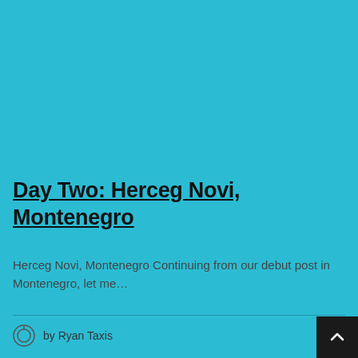Day Two: Herceg Novi, Montenegro
Herceg Novi, Montenegro Continuing from our debut post in Montenegro, let me…
by Ryan Taxis